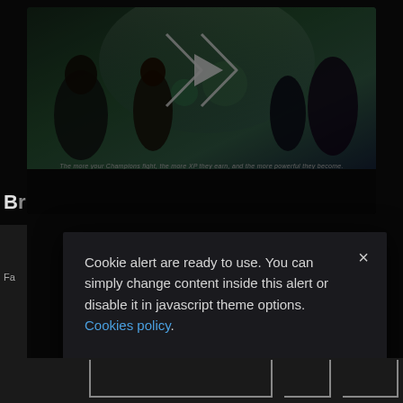[Figure (screenshot): Gaming website banner showing fantasy/action game characters fighting, with a video play button overlay, progress bar, and caption text: 'The more your Champions fight, the more XP they earn, and the more powerful they become.']
Cookie alert are ready to use. You can simply change content inside this alert or disable it in javascript theme options. Cookies policy.
CONFIRM